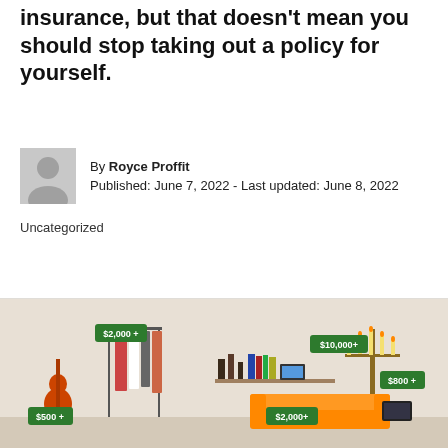insurance, but that doesn't mean you should stop taking out a policy for yourself.
By Royce Proffit
Published: June 7, 2022 - Last updated: June 8, 2022
Uncategorized
[Figure (illustration): Infographic illustration of a room interior with household items labeled with price tags: clothing rack $2,000+, shelf with figurines and books $10,000+, candelabra $800+, guitar $500+, orange sofa $2,000+, TV.]